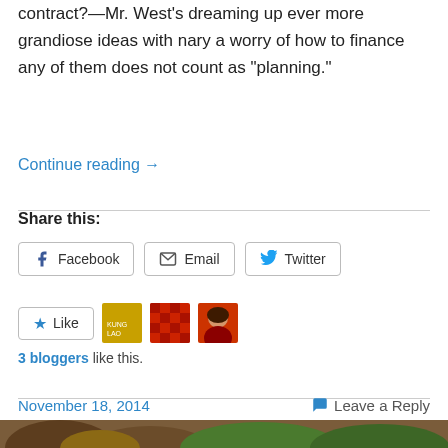contract?—Mr. West's dreaming up ever more grandiose ideas with nary a worry of how to finance any of them does not count as “planning.”
Continue reading →
Share this:
Facebook   Email   Twitter
★ Like
3 bloggers like this.
November 18, 2014     💬 Leave a Reply
[Figure (photo): Partial image of trees/landscape at the bottom of the page]